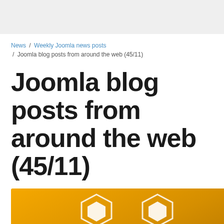News / Weekly Joomla news posts / Joomla blog posts from around the web (45/11)
Joomla blog posts from around the web (45/11)
[Figure (illustration): Orange/golden background with white Joomla logo lightning bolt symbols partially visible at bottom]